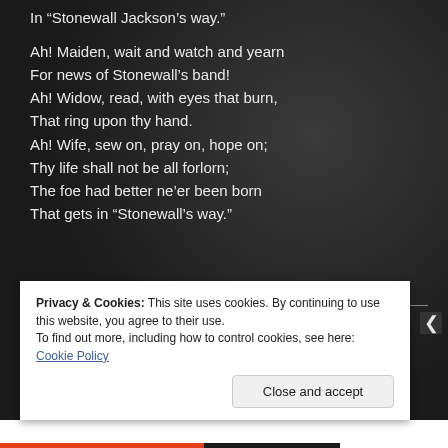In “Stonewall Jackson’s way.”
Ah! Maiden, wait and watch and yearn
For news of Stonewall’s band!
Ah! Widow, read, with eyes that burn,
That ring upon thy hand.
Ah! Wife, sew on, pray on, hope on;
Thy life shall not be all forlorn;
The foe had better ne’er been born
That gets in “Stonewall’s way.”
Privacy & Cookies: This site uses cookies. By continuing to use this website, you agree to their use.
To find out more, including how to control cookies, see here: Cookie Policy